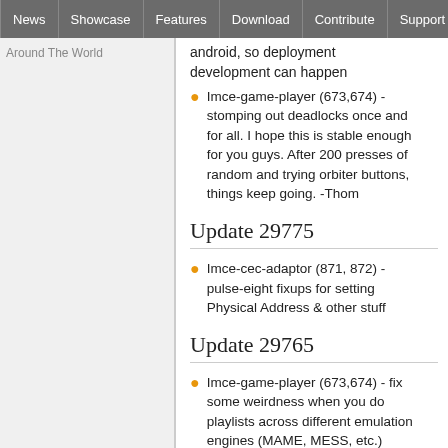News | Showcase | Features | Download | Contribute | Support
Around The World
android, so deployment development can happen
Imce-game-player (673,674) - stomping out deadlocks once and for all. I hope this is stable enough for you guys. After 200 presses of random and trying orbiter buttons, things keep going. -Thom
Update 29775
Imce-cec-adaptor (871, 872) - pulse-eight fixups for setting Physical Address & other stuff
Update 29765
Imce-game-player (673,674) - fix some weirdness when you do playlists across different emulation engines (MAME, MESS, etc.)